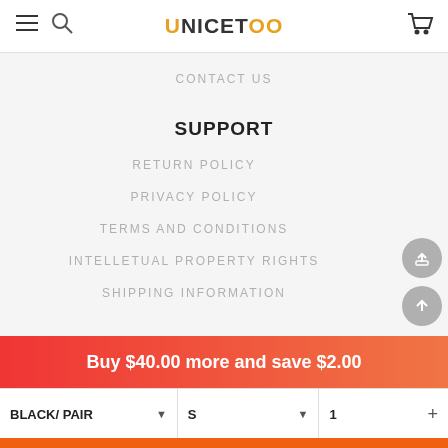UNICETOO — hamburger menu, search, cart
CONTACT US
SUPPORT
RETURN POLICY
PRIVACY POLICY
TERMS AND CONDITIONS
INTELLETUAL PROPERTY RIGHTS
SHIPPING INFORMATION
Buy $40.00 more and save $2.00
BLACK/ PAIR  S  1
Add to Cart